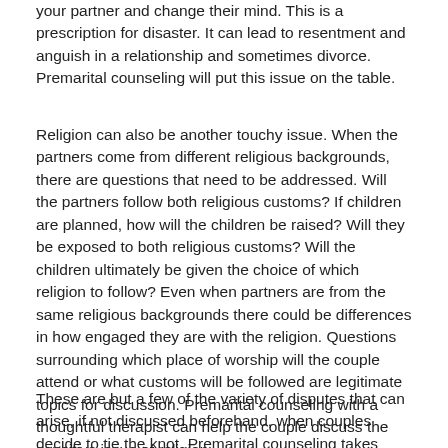your partner and change their mind. This is a prescription for disaster. It can lead to resentment and anguish in a relationship and sometimes divorce. Premarital counseling will put this issue on the table.
Religion can also be another touchy issue. When the partners come from different religious backgrounds, there are questions that need to be addressed. Will the partners follow both religious customs? If children are planned, how will the children be raised? Will they be exposed to both religious customs? Will the children ultimately be given the choice of which religion to follow? Even when partners are from the same religious backgrounds there could be differences in how engaged they are with the religion. Questions surrounding which place of worship will the couple attend or what customs will be followed are legitimate topics for discussion. Premarital counseling with a thoughtful therapist can help the couple discuss the sensitive issue of religion.
These are but a few of the variety of disputes that can arise, if not discussed beforehand, when couples decide to tie the knot. Premarital counseling takes courage. Have any of these issues been discussed with your partner? If you feel a